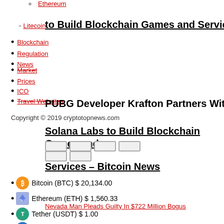Ethereum
Litecoin
Blockchain
Regulation
News
Market
Prices
ICO
Travel Websites
PUBG Developer Krafton Partners With Solana Labs to Build Blockchain Games and Services – Bitcoin News
Copyright © 2019 cryptotopnews.com
Bitcoin (BTC) $ 20,134.00
Ethereum (ETH) $ 1,560.33
Tether (USDT) $ 1.00
USD Coin (USDC) $ 1.00
BNB (BNB) $ 279.15
Binance USD (BUSD) $ 1.00
Nevada Man Pleads Guilty In $722 Million Bogus Crypto Investment
vada Man Pleads Guilty In $722 Million
XRP (XRP) $ 0.327535